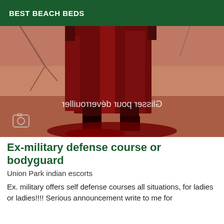BEST BEACH BEDS
[Figure (photo): A figure wearing a long dark red trench coat standing in a red-tinted desert scene. Mirrored text overlay reads 'Glisser pour déverrouiller'. A camera icon is visible at the lower left.]
Ex-military defense course or bodyguard
Union Park indian escorts
Ex. military offers self defense courses all situations, for ladies or ladies!!!! Serious announcement write to me for